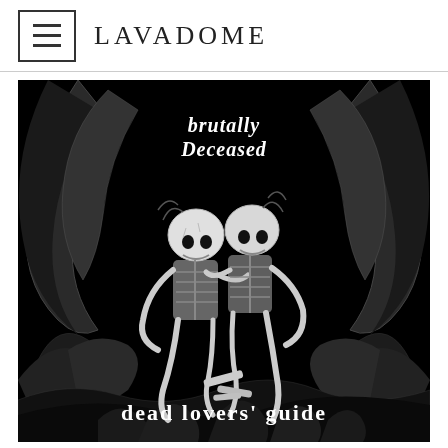LAVADOME
[Figure (illustration): Album cover art for 'Brutally Deceased - Dead Lovers' Guide'. Black and white illustration featuring two skeletons embracing in the center, surrounded by large curved horns or tusks and flowing tentacle-like organic forms. At the top is the band name 'brutally deceased' in a death metal font. At the bottom is the album title 'dead lovers' guide' in a decorative gothic/death metal font. The entire image is on a black background.]